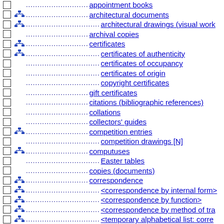appointment books
architectural documents
architectural drawings (visual work
archival copies
certificates
certificates of authenticity
certificates of occupancy
certificates of origin
copyright certificates
gift certificates
citations (bibliographic references)
collations
collectors' guides
competition entries
competition drawings [N]
computuses
Easter tables
copies (documents)
correspondence
<correspondence by internal form>
<correspondence by function>
<correspondence by method of tra
<temporary alphabetical list: corre